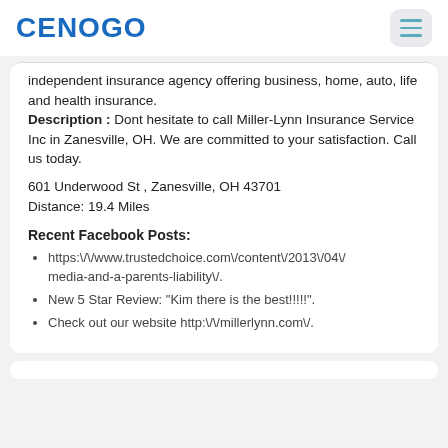CENOGO
independent insurance agency offering business, home, auto, life and health insurance. Description : Dont hesitate to call Miller-Lynn Insurance Service Inc in Zanesville, OH. We are committed to your satisfaction. Call us today.
601 Underwood St , Zanesville, OH 43701
Distance: 19.4 Miles
Recent Facebook Posts:
https://www.trustedchoice.com/content/2013/04/ media-and-a-parents-liability/.
New 5 Star Review: "Kim there is the best!!!!!".
Check out our website http://millerlynn.com/.